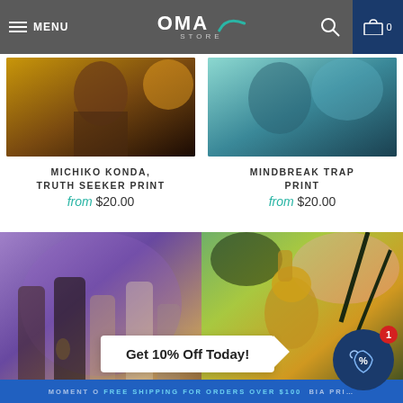OMA STORE — Menu, Search, Cart 0
[Figure (photo): Michiko Konda product image — warm golden-brown tones, fantasy character]
MICHIKO KONDA, TRUTH SEEKER PRINT
from $20.00
[Figure (photo): Mindbreak Trap product image — teal/blue tones, fantasy scene]
MINDBREAK TRAP PRINT
from $20.00
[Figure (photo): Group of fantasy characters with candles in a purple-toned forest setting]
[Figure (photo): Armored warrior in green/gold with raised fist in a spring forest]
Get 10% Off Today!
MOMENT O... FREE SHIPPING FOR ORDERS OVER $100 BIA PRI...